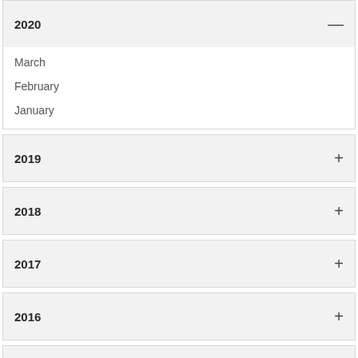2020
March
February
January
2019
2018
2017
2016
2015
2014